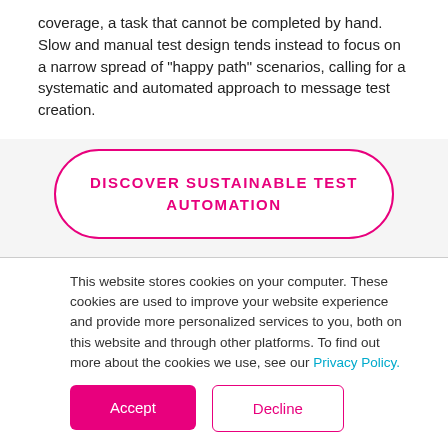coverage, a task that cannot be completed by hand. Slow and manual test design tends instead to focus on a narrow spread of "happy path" scenarios, calling for a systematic and automated approach to message test creation.
DISCOVER SUSTAINABLE TEST AUTOMATION
This website stores cookies on your computer. These cookies are used to improve your website experience and provide more personalized services to you, both on this website and through other platforms. To find out more about the cookies we use, see our Privacy Policy.
Accept
Decline